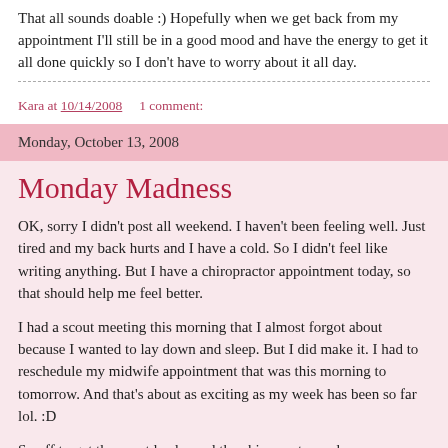That all sounds doable :) Hopefully when we get back from my appointment I'll still be in a good mood and have the energy to get it all done quickly so I don't have to worry about it all day.
Kara at 10/14/2008    1 comment:
Monday, October 13, 2008
Monday Madness
OK, sorry I didn't post all weekend. I haven't been feeling well. Just tired and my back hurts and I have a cold. So I didn't feel like writing anything. But I have a chiropractor appointment today, so that should help me feel better.
I had a scout meeting this morning that I almost forgot about because I wanted to lay down and sleep. But I did make it. I had to reschedule my midwife appointment that was this morning to tomorrow. And that's about as exciting as my week has been so far lol. :D
So off to get the scout leader and the chiropractor and...